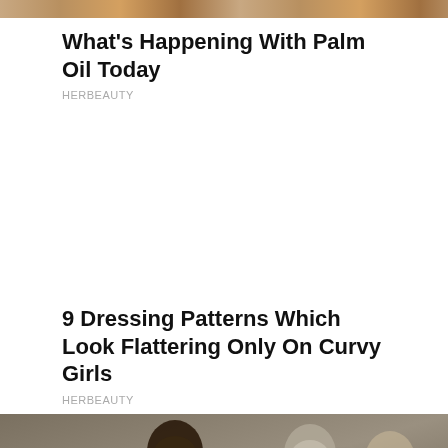[Figure (photo): Partial cropped image strip at top of page showing people]
What's Happening With Palm Oil Today
HERBEAUTY
[Figure (other): Advertisement space (blank white area)]
9 Dressing Patterns Which Look Flattering Only On Curvy Girls
HERBEAUTY
[Figure (photo): Photo of two men in formal attire facing each other, one with glasses and dark beard, one with grey hair, with uniformed officials in background]